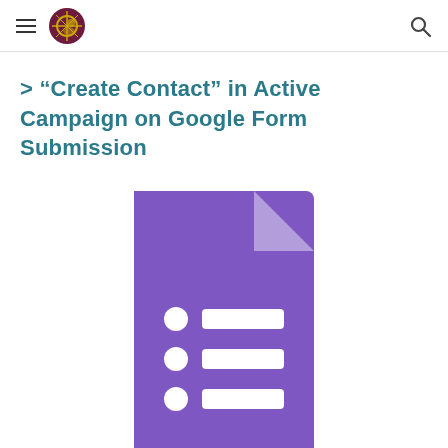> "Create Contact" in Active Campaign on Google Form Submission
[Figure (illustration): Google Forms logo icon — a purple document/form icon with a folded top-right corner and three white horizontal list rows with white circular bullets, on a white background.]